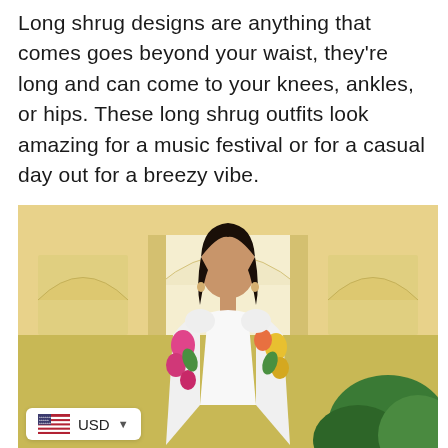Long shrug designs are anything that comes goes beyond your waist, they're long and can come to your knees, ankles, or hips. These long shrug outfits look amazing for a music festival or for a casual day out for a breezy vibe.
[Figure (photo): A woman wearing a white floral long shrug outfit, standing in front of a yellow heritage building with arches. A USD currency selector overlay is visible at the bottom left of the image.]